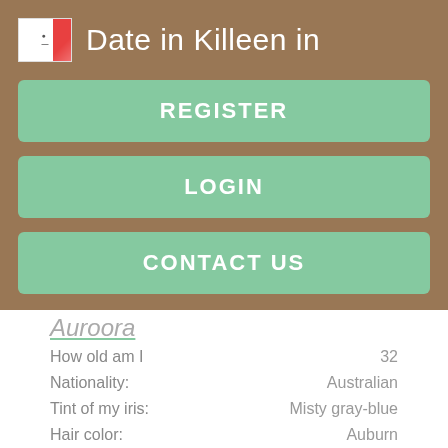Date in Killeen in
REGISTER
LOGIN
CONTACT US
Auroora
| Field | Value |
| --- | --- |
| How old am I | 32 |
| Nationality: | Australian |
| Tint of my iris: | Misty gray-blue |
| Hair color: | Auburn |